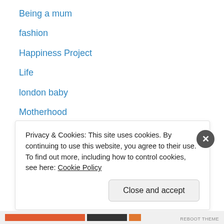Being a mum
fashion
Happiness Project
Life
london baby
Motherhood
product review
pushchair
travel
Uncategorized
Privacy & Cookies: This site uses cookies. By continuing to use this website, you agree to their use.
To find out more, including how to control cookies, see here: Cookie Policy
Close and accept